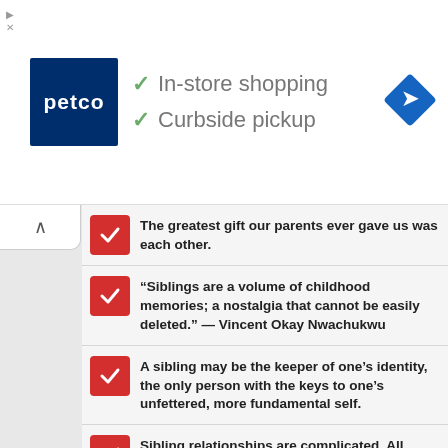[Figure (logo): Petco logo (dark blue square with 'petco' text in white) with green checkmark list showing 'In-store shopping' and 'Curbside pickup', and a blue navigation diamond icon on the right. Ad banner with small triangle and X icons.]
The greatest gift our parents ever gave us was each other.
“Siblings are a volume of childhood memories; a nostalgia that cannot be easily deleted.” — Vincent Okay Nwachukwu
A sibling may be the keeper of one’s identity, the only person with the keys to one’s unfettered, more fundamental self.
Sibling relationships are complicated. All family relationships are. Just look at Hamlet.' – Maurice Saatchi
Why would I stop simply because I know it annoys you?